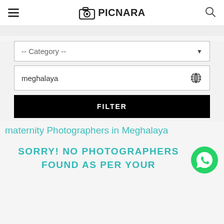PICNARA
-- Category --
meghalaya
FILTER
maternity Photographers in Meghalaya
SORRY! NO PHOTOGRAPHERS FOUND AS PER YOUR